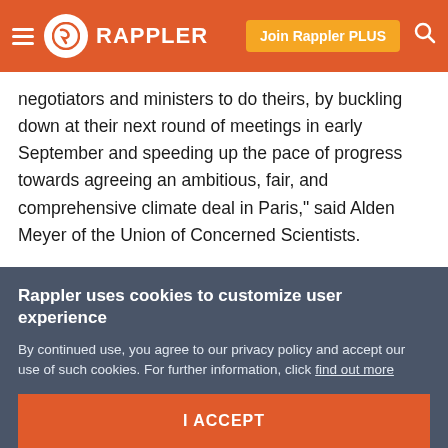Rappler — Join Rappler PLUS
negotiators and ministers to do theirs, by buckling down at their next round of meetings in early September and speeding up the pace of progress towards agreeing an ambitious, fair, and comprehensive climate deal in Paris," said Alden Meyer of the Union of Concerned Scientists.
Last week, ministers and top-level diplomats from 46 countries met informally in Paris to push things along.
While their talks were not part of the formal negotiating
Rappler uses cookies to customize user experience
By continued use, you agree to our privacy policy and accept our use of such cookies. For further information, click find out more
I ACCEPT